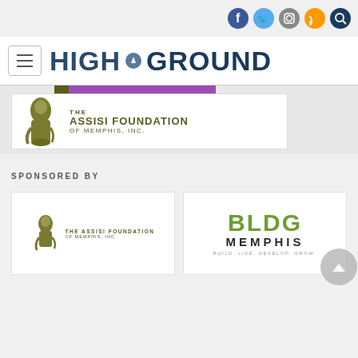HIGH GROUND - Social icons: Facebook, Twitter, Instagram, RSS, Search
[Figure (logo): High Ground news logo with hamburger menu icon]
[Figure (logo): The Assisi Foundation of Memphis, Inc. logo banner with purple bar]
SPONSORED BY
[Figure (logo): The Assisi Foundation of Memphis, Inc. sponsor logo]
[Figure (logo): BLDG Memphis - Build. Live. Develop. Grow. sponsor logo]